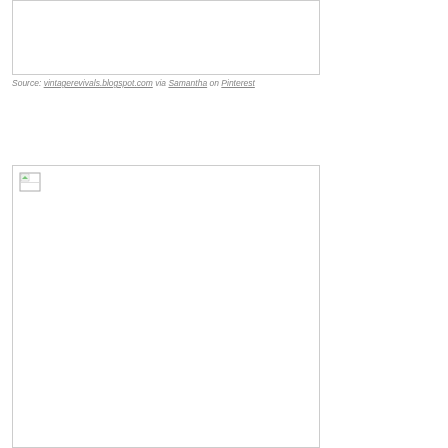[Figure (photo): Empty image box with border, top of page, image failed to load]
Source: vintagerevivals.blogspot.com via Samantha on Pinterest
[Figure (photo): Empty image box with border and broken image icon in top-left corner, image failed to load]